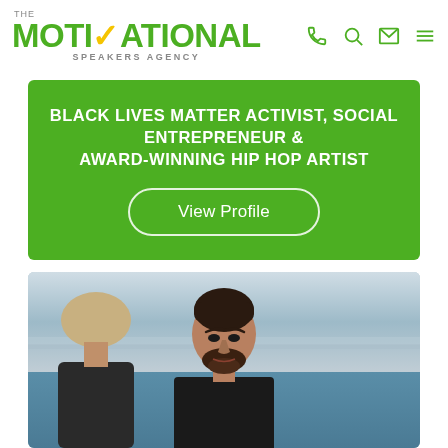THE MOTIVATIONAL SPEAKERS AGENCY
BLACK LIVES MATTER ACTIVIST, SOCIAL ENTREPRENEUR & AWARD-WINNING HIP HOP ARTIST
View Profile
[Figure (photo): Portrait photo of a bearded man with dark hair wearing a dark jacket, outdoors with ocean/sky background. Partial view of a second person on the left.]